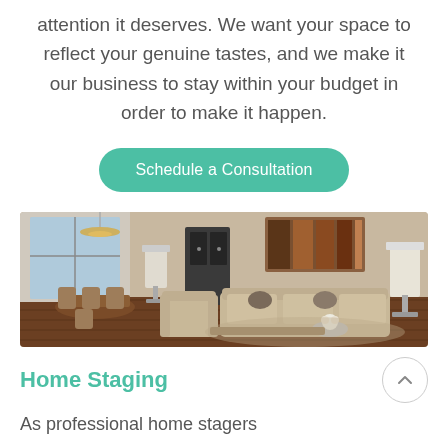attention it deserves. We want your space to reflect your genuine tastes, and we make it our business to stay within your budget in order to make it happen.
Schedule a Consultation
[Figure (photo): Interior living room and dining area with warm neutral tones, sofa, armchairs, chandelier, large artwork, and floor lamps.]
Home Staging
As professional home stagers